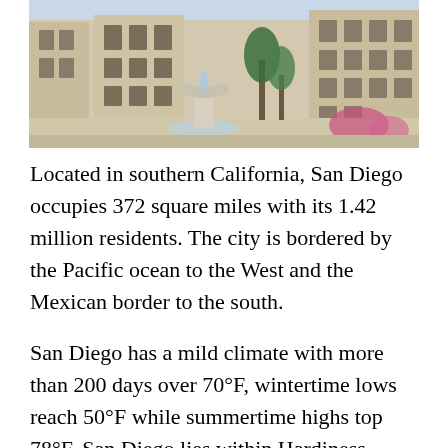[Figure (photo): Photograph of a public plaza or civic area in San Diego, showing a fountain in the center, large classical/modern buildings in the background, palm trees, and flowering shrubs. Bright sunny day.]
Located in southern California, San Diego occupies 372 square miles with its 1.42 million residents. The city is bordered by the Pacific ocean to the West and the Mexican border to the south.
San Diego has a mild climate with more than 200 days over 70°F, wintertime lows reach 50°F while summertime highs top 78°F. San Diego lies within Hardiness Zones 8a, 8b, 9a, 9b, 10a and 10b, and boasts over 40,000 acres of park assets. As such, San Diego has